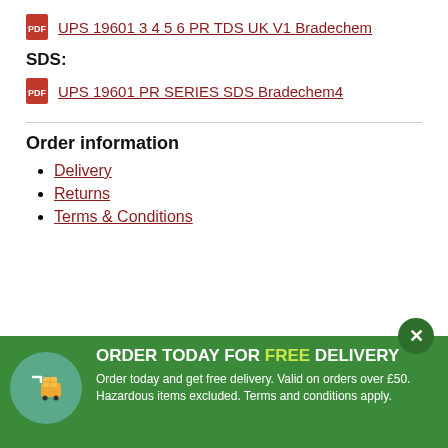UPS 19601 3 4 5 6 PR TDS UK V1 Bradechem
SDS:
UPS 19601 PR SERIES SDS Bradechem4
Order information
Delivery
Returns
Terms & Conditions
[Figure (infographic): Green promotional banner with delivery cart icon. Text reads ORDER TODAY FOR FREE DELIVERY. Order today and get free delivery. Valid on orders over £50. Hazardous items excluded. Terms and conditions apply.]